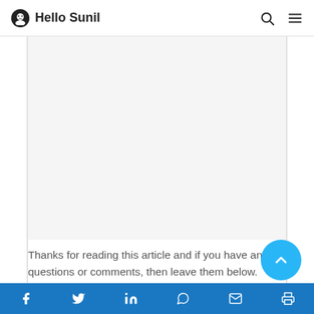Hello Sunil
[Figure (other): Advertisement placeholder area with light grey background]
Thanks for reading this article and if you have any questions or comments, then leave them below.
How useful was this post?
Social share bar with icons: Facebook, Twitter, LinkedIn, WhatsApp, Email, Print